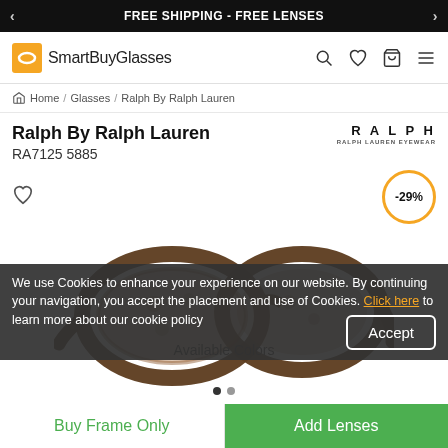FREE SHIPPING - FREE LENSES
[Figure (logo): SmartBuyGlasses logo with orange icon and navigation icons (search, wishlist, cart, menu)]
Home / Glasses / Ralph By Ralph Lauren
Ralph By Ralph Lauren
RA7125 5885
[Figure (logo): RALPH - Ralph Lauren Eyewear brand logo text]
[Figure (photo): Tortoise shell cat-eye eyeglasses frames - Ralph By Ralph Lauren RA7125 5885, shown at an angle with -29% discount badge]
We use Cookies to enhance your experience on our website. By continuing your navigation, you accept the placement and use of Cookies. Click here to learn more about our cookie policy
Available Colors
Buy Frame Only
Add Lenses